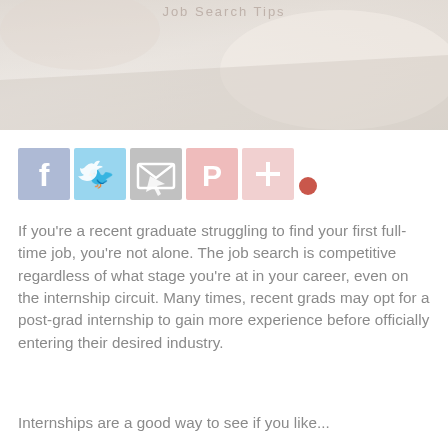[Figure (photo): Hero image showing a blurred light-colored background suggesting a workspace or desk, with faint text 'Job Search Tips' visible at top]
[Figure (infographic): Row of social share icons: Facebook (blue), Twitter (light blue), Email/share (grey), Pinterest (pink/red), Plus/more (light pink), and a red dot indicator]
If you're a recent graduate struggling to find your first full-time job, you're not alone. The job search is competitive regardless of what stage you're at in your career, even on the internship circuit. Many times, recent grads may opt for a post-grad internship to gain more experience before officially entering their desired industry.
Internships are a good way to see if you like...